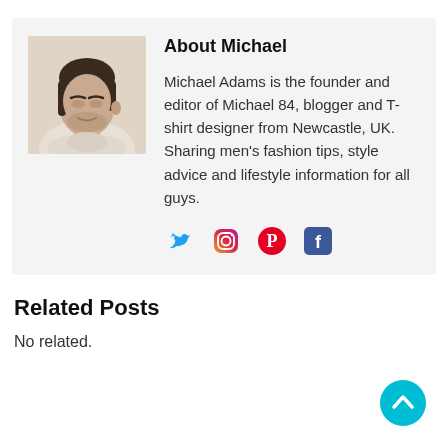[Figure (photo): Headshot photo of Michael Adams, a man with short hair looking downward, wearing a light-colored top]
About Michael
Michael Adams is the founder and editor of Michael 84, blogger and T-shirt designer from Newcastle, UK. Sharing men's fashion tips, style advice and lifestyle information for all guys.
[Figure (infographic): Social media icons: Twitter (blue bird), Instagram (gradient camera), Pinterest (red P), Facebook (blue F)]
Related Posts
No related.
[Figure (illustration): Cyan/turquoise circular scroll-to-top button with upward chevron arrow]